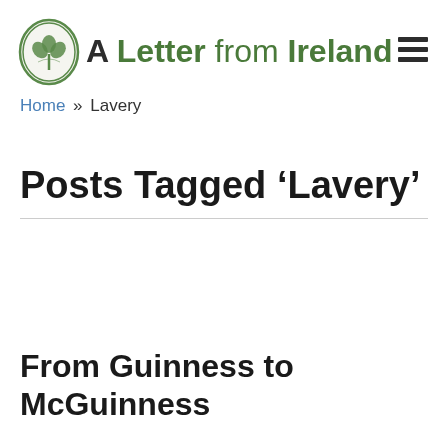A Letter from Ireland
Home » Lavery
Posts Tagged ‘Lavery’
From Guinness to McGuinness